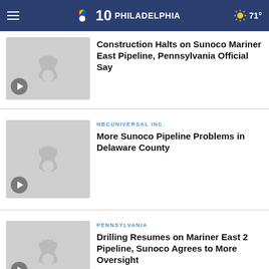NBC10 PHILADELPHIA — 71°
[Figure (screenshot): Video thumbnail placeholder with NBC peacock logo and play button for Construction Halts story]
Construction Halts on Sunoco Mariner East Pipeline, Pennsylvania Official Say
[Figure (screenshot): Video thumbnail placeholder with NBC peacock logo and play button for More Sunoco Pipeline story]
NBCUNIVERSAL INC.
More Sunoco Pipeline Problems in Delaware County
[Figure (screenshot): Video thumbnail placeholder with NBC peacock logo and play button for Drilling Resumes story]
PENNSYLVANIA
Drilling Resumes on Mariner East 2 Pipeline, Sunoco Agrees to More Oversight